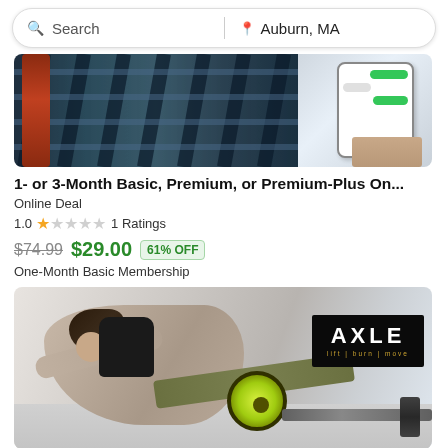Search | Auburn, MA
[Figure (photo): Gym equipment / rails with person and phone on right side]
1- or 3-Month Basic, Premium, or Premium-Plus On...
Online Deal
1.0 ★☆☆☆☆ 1 Ratings
$74.99  $29.00  61% OFF
One-Month Basic Membership
[Figure (photo): Woman doing push-up/plank exercise with ab wheel and barbell. AXLE logo in upper right corner.]